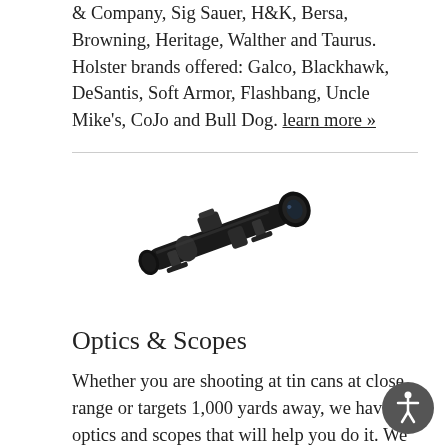& Company, Sig Sauer, H&K, Bersa, Browning, Heritage, Walther and Taurus. Holster brands offered: Galco, Blackhawk, DeSantis, Soft Armor, Flashbang, Uncle Mike's, CoJo and Bull Dog. learn more »
[Figure (photo): A rifle scope (optic) photographed diagonally on a white background, dark black finish with adjustment turrets visible.]
Optics & Scopes
Whether you are shooting at tin cans at close range or targets 1,000 yards away, we have the optics and scopes that will help you do it. We stock Nikon, Bushnell, Burris, Sightron, Leupold, Vortex, Redfield, Swarkovski, and Hawke to name a few. We have several varieties to choose from everyday. To top it each new scope purchase comes with complement mounting and bore sighting! learn more »